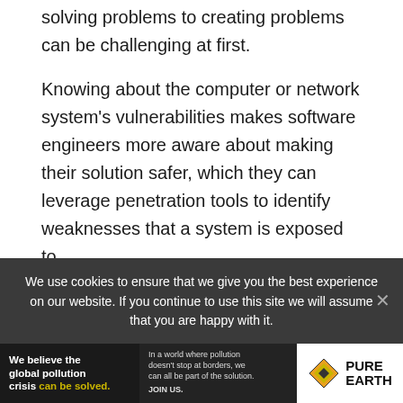solving problems to creating problems can be challenging at first.
Knowing about the computer or network system's vulnerabilities makes software engineers more aware about making their solution safer, which they can leverage penetration tools to identify weaknesses that a system is exposed to.
What did you think about this article?
We use cookies to ensure that we give you the best experience on our website. If you continue to use this site we will assume that you are happy with it.
[Figure (other): Pure Earth advertisement banner: 'We believe the global pollution crisis can be solved. In a world where pollution doesn't stop at borders, we can all be part of the solution. JOIN US.' with Pure Earth logo.]